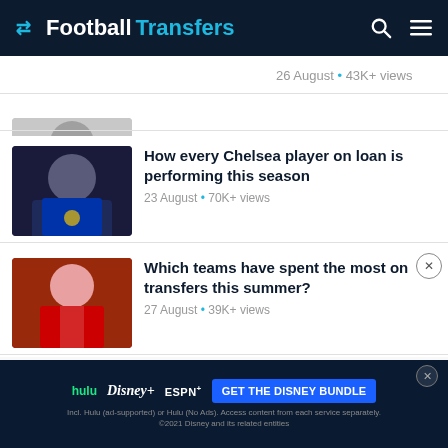FootballTransfers
26 August • 43K+ views
How every Chelsea player on loan is performing this season
23 August • 70K+ views
Which teams have spent the most on transfers this summer?
27 August • 39K+ views
After Darwin Nunez and Tchouameni, who will be football's next €100m star?
24 August • 25K+ views
[Figure (screenshot): Disney Bundle advertisement: hulu, Disney+, ESPN+ logos with GET THE DISNEY BUNDLE CTA button]
Pogba's brother promises 'explosive revelations on Juventus star and Mbappe